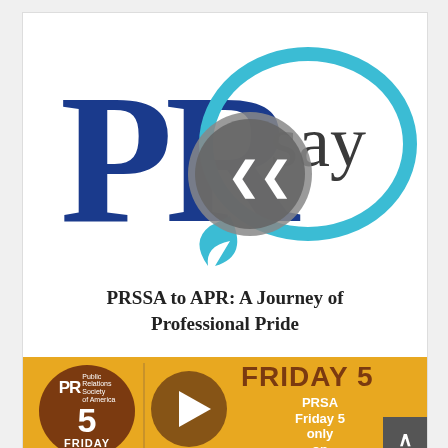[Figure (logo): PRSay logo — large blue PR letters with a teal speech bubble chat icon containing the word 'say', with a circular back arrow/play button overlay]
PRSSA to APR: A Journey of Professional Pride
[Figure (infographic): PRSA Friday 5 promotional banner with orange background. Shows PRSA circular brown logo with number 5 and text FRIDAY, a play button circle, and text FRIDAY 5 with subtext 'PRSA Friday 5 only on']